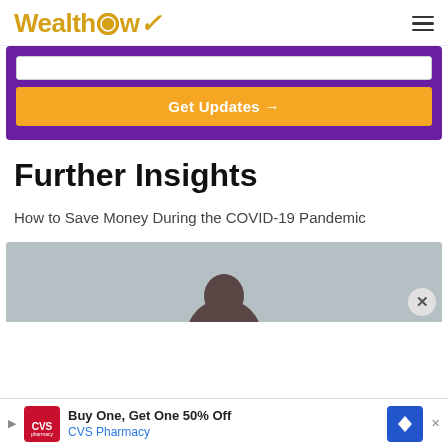WealthHow
[Figure (screenshot): Purple subscription box with orange 'Get Updates →' button and white input field]
Further Insights
How to Save Money During the COVID-19 Pandemic
[Figure (photo): Partial photo of a person, cropped at bottom of page]
Buy One, Get One 50% Off
CVS Pharmacy